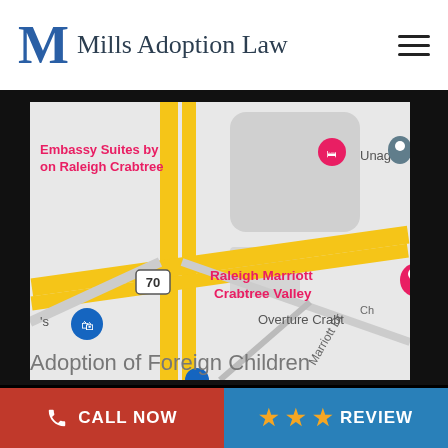M Mills Adoption Law
[Figure (map): Google Maps screenshot showing area around Raleigh Marriott Crabtree Valley, Embassy Suites by Hilton on Raleigh Crabtree, and Unagui restaurant near Crabtree Valley area in Raleigh NC. Yellow highway roads visible, route 70 marked, Marriott Dr labeled, Overture Crabtree visible.]
Adoption of Foreign Children
CALL NOW
REVIEW